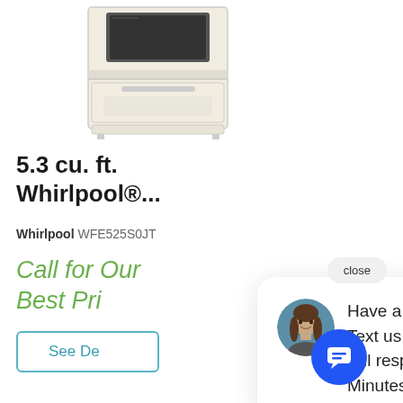[Figure (photo): Whirlpool electric range oven in white/cream color, partial top view]
5.3 cu. ft. Whirlpool®...
Whirlpool WFE525S0JT
Call for Our Best Pri
See De
close
[Figure (photo): Avatar photo of a woman with long brown hair on teal background]
Have a Question? Text us here and we will respond within Minutes!